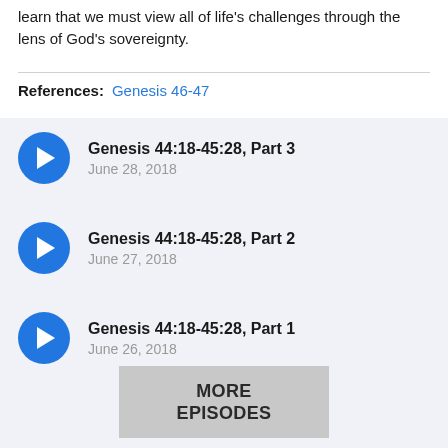learn that we must view all of life's challenges through the lens of God's sovereignty.
References: Genesis 46-47
Genesis 44:18-45:28, Part 3 — June 28, 2018
Genesis 44:18-45:28, Part 2 — June 27, 2018
Genesis 44:18-45:28, Part 1 — June 26, 2018
MORE EPISODES